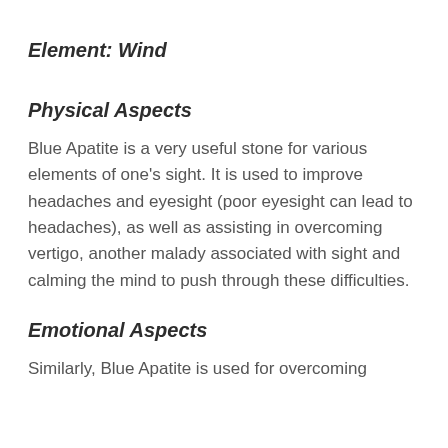Element: Wind
Physical Aspects
Blue Apatite is a very useful stone for various elements of one's sight. It is used to improve headaches and eyesight (poor eyesight can lead to headaches), as well as assisting in overcoming vertigo, another malady associated with sight and calming the mind to push through these difficulties.
Emotional Aspects
Similarly, Blue Apatite is used for overcoming